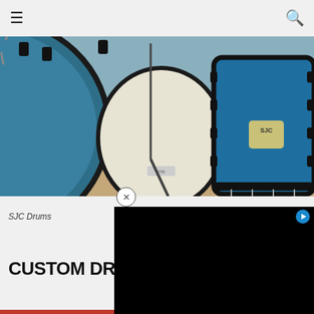≡  🔍
[Figure (photo): Close-up photo of SJC Drums drum kit — blue textured bass drum on left, cream/white drum in center, blue floor tom with SJC logo badge on right, on a tile floor background]
SJC Drums
[Figure (screenshot): Black video player overlay panel with a play triangle button in top-right corner]
CUSTOM DRUM C…